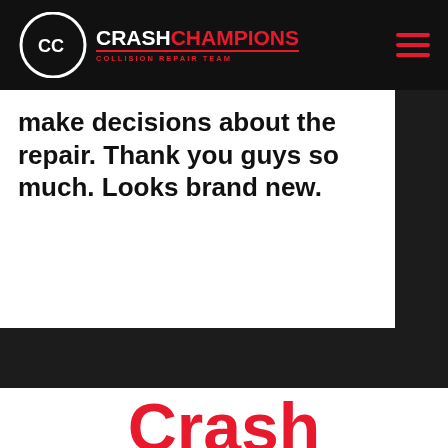Crash Champions Collision Repair Team
make decisions about the repair. Thank you guys so much. Looks brand new.
[Figure (other): Navigation arrows: grey left arrow and red right arrow on dark background]
[Figure (other): Red diagonal accent shape at bottom of dark section]
Crash